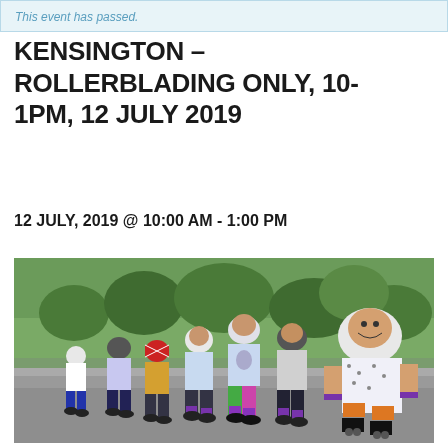This event has passed.
KENSINGTON – ROLLERBLADING ONLY, 10-1PM, 12 JULY 2019
12 JULY, 2019 @ 10:00 AM - 1:00 PM
[Figure (photo): Group of children wearing helmets and protective gear on inline roller skates, posing on a park path with green trees in the background.]